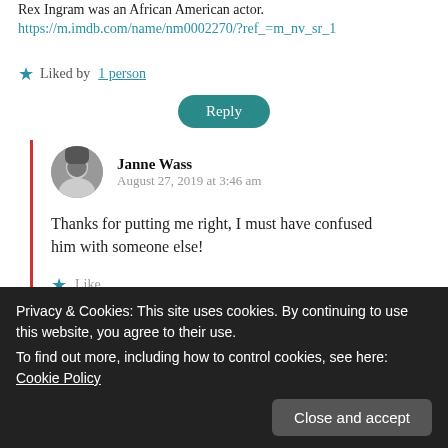Rex Ingram was an African American actor.
https://m.imdb.com/name/nm0002270/?ref_=m_nv_sr_1
★ Liked by 1 person
Reply
Janne Wass
August 27, 2019 at 3:46 am
Thanks for putting me right, I must have confused him with someone else!
★ Like
Privacy & Cookies: This site uses cookies. By continuing to use this website, you agree to their use.
To find out more, including how to control cookies, see here: Cookie Policy
Close and accept